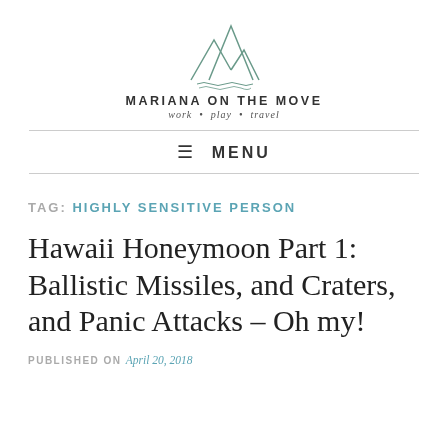[Figure (logo): Mariana on the Move blog logo: mountain outline SVG with brand name and tagline]
≡ MENU
TAG: HIGHLY SENSITIVE PERSON
Hawaii Honeymoon Part 1: Ballistic Missiles, and Craters, and Panic Attacks – Oh my!
PUBLISHED ON April 20, 2018